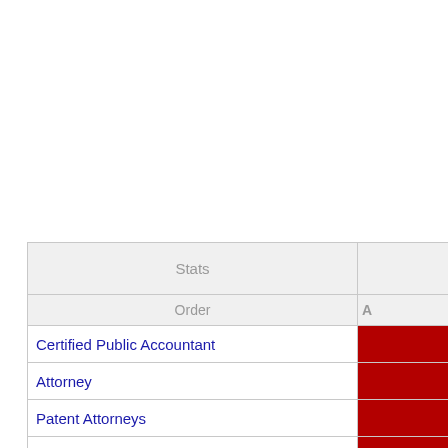| Stats |  |
| --- | --- |
| Certified Public Accountant |  |
| Attorney |  |
| Patent Attorneys |  |
| Patent Registrations |  |
| Average Commercial Land Price |  |
| Japanese HIV Carriers |  |
| Mobile Phone Subscriptions |  |
| French Residents in Japan |  |
| Italian Residents in Japan |  |
| Average Industrial Land Price |  |
| Labor and Social Security Attorney |  |
| (partial row visible) |  |